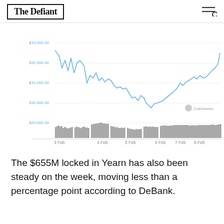The Defiant
[Figure (continuous-plot): Bitcoin price line chart (blue line) from Feb 3 to Feb 9, with y-axis labels $29,000.00, $30,000.00, $31,000.00, $32,000.00, $33,000.00, and a volume bar chart below. X-axis labels: 3 Feb, 4 Feb, 5 Feb, 6 Feb, 7 Feb, 8 Feb, 9 Feb. CoinGecko watermark.]
The $655M locked in Yearn has also been steady on the week, moving less than a percentage point according to DeBank.